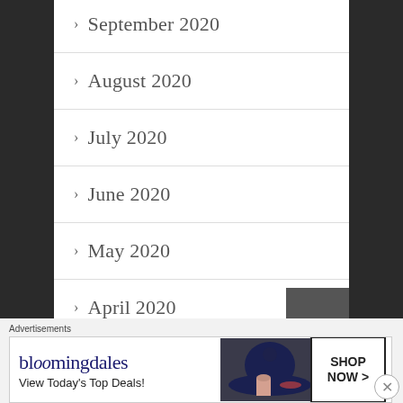> September 2020
> August 2020
> July 2020
> June 2020
> May 2020
> April 2020
> March 2020
> February 2020
[Figure (screenshot): Bloomingdale's advertisement banner: 'bloomingdales - View Today's Top Deals! SHOP NOW >' with woman in wide-brim hat]
Advertisements